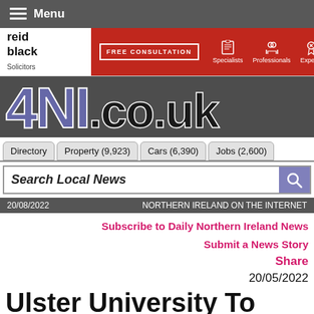Menu
[Figure (logo): Reid Black Solicitors advertisement banner with red background, FREE CONSULTATION text, and icons for Specialists, Professionals, Experts]
[Figure (logo): 4NI.co.uk website logo in large purple and dark text on dark grey background]
Directory | Property (9,923) | Cars (6,390) | Jobs (2,600)
Search Local News
20/08/2022  NORTHERN IRELAND ON THE INTERNET
Subscribe to Daily Northern Ireland News
Submit a News Story
Share
20/05/2022
Ulster University To